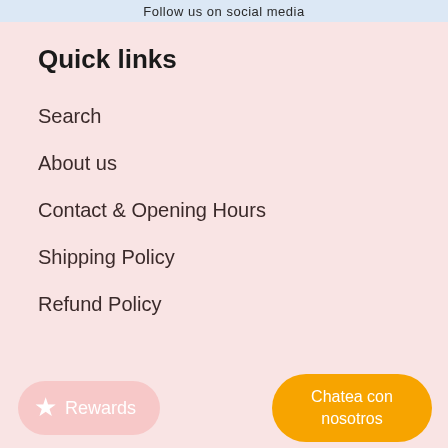Follow us on social media
Quick links
Search
About us
Contact & Opening Hours
Shipping Policy
Refund Policy
Rewards
Chatea con nosotros